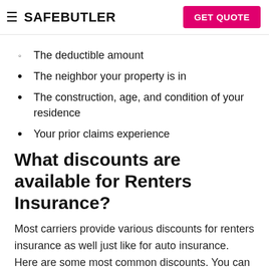SAFEBUTLER  GET QUOTE
The deductible amount
The neighbor your property is in
The construction, age, and condition of your residence
Your prior claims experience
What discounts are available for Renters Insurance?
Most carriers provide various discounts for renters insurance as well just like for auto insurance. Here are some most common discounts. You can also